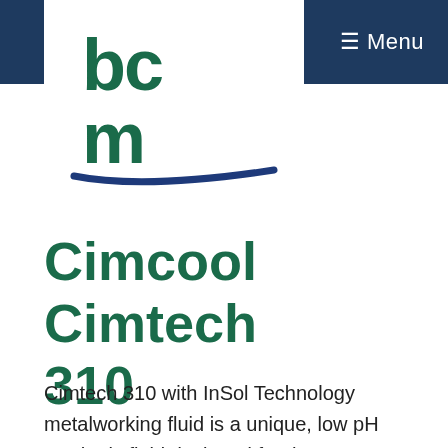[Figure (logo): BCM company logo with stylized teal/green letters bc and m with a blue swoosh underline]
≡ Menu
Cimcool Cimtech 310
Cimtech 310 with InSol Technology metalworking fluid is a unique, low pH synthetic fluid designed for the aerospace industry and is recommended for moderate to heavy duty machining and grinding operations, including creep feed grinding on ferrous or non-ferrous metals. Lubricity of this fluid on titanium, aluminum and even cast iron or